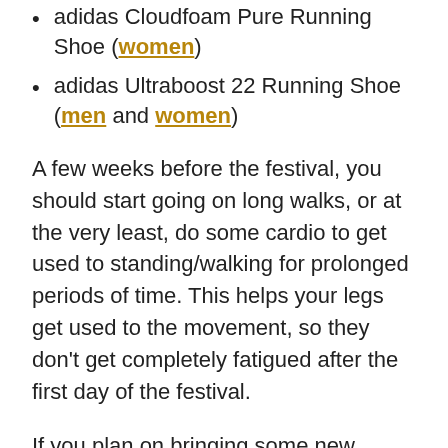adidas Cloudfoam Pure Running Shoe (women)
adidas Ultraboost 22 Running Shoe (men and women)
A few weeks before the festival, you should start going on long walks, or at the very least, do some cardio to get used to standing/walking for prolonged periods of time. This helps your legs get used to the movement, so they don’t get completely fatigued after the first day of the festival.
If you plan on bringing some new shoes to EDC, walking in them ahead of time will help